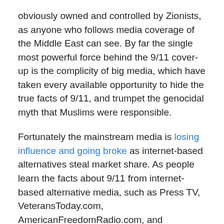obviously owned and controlled by Zionists, as anyone who follows media coverage of the Middle East can see. By far the single most powerful force behind the 9/11 cover-up is the complicity of big media, which have taken every available opportunity to hide the true facts of 9/11, and trumpet the genocidal myth that Muslims were responsible.
Fortunately the mainstream media is losing influence and going broke as internet-based alternatives steal market share. As people learn the facts about 9/11 from internet-based alternative media, such as Press TV, VeteransToday.com, AmericanFreedomRadio.com, and NoLiesRadio.org, they increasingly see big media for what it is: pro-corporate, pro-Israeli propaganda.
It is not surprising that Americans' trust in big media